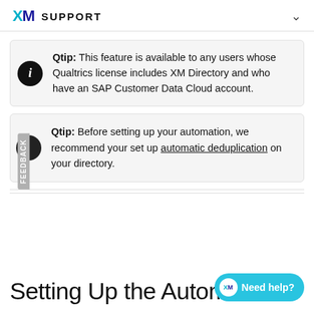XM SUPPORT
Qtip: This feature is available to any users whose Qualtrics license includes XM Directory and who have an SAP Customer Data Cloud account.
Qtip: Before setting up your automation, we recommend your set up automatic deduplication on your directory.
Setting Up the Automation